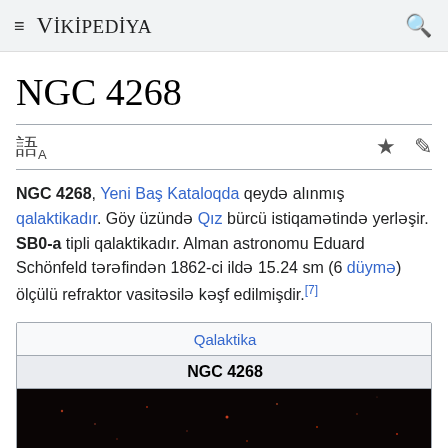≡ VİKİPEDİYA 🔍
NGC 4268
NGC 4268, Yeni Baş Kataloqda qeydə alınmış qalaktikadır. Göy üzündə Qız bürcü istiqamətində yerləşir. SB0-a tipli qalaktikadır. Alman astronomu Eduard Schönfeld tərəfindən 1862-ci ildə 15.24 sm (6 düymə) ölçülü refraktor vasitəsilə kəşf edilmişdir.[7]
| Qalaktika | NGC 4268 |
| --- | --- |
| [image] |  |